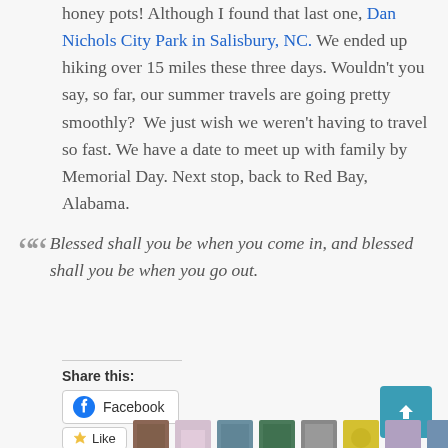honey pots! Although I found that last one, Dan Nichols City Park in Salisbury, NC. We ended up hiking over 15 miles these three days. Wouldn't you say, so far, our summer travels are going pretty smoothly?  We just wish we weren't having to travel so fast. We have a date to meet up with family by Memorial Day. Next stop, back to Red Bay, Alabama.
"Blessed shall you be when you come in, and blessed shall you be when you go out."
Share this:
Facebook
Like
21 bloggers like this.